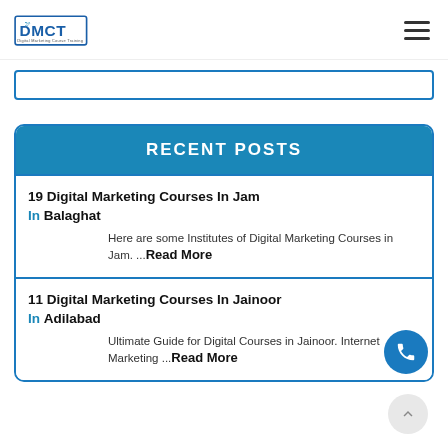[Figure (logo): DMCT - Digital Marketing Course Training logo with bird icon]
[Figure (other): Hamburger menu icon (three horizontal lines)]
[Figure (other): Search input bar with blue border]
RECENT POSTS
19 Digital Marketing Courses In Jam In Balaghat
Here are some Institutes of Digital Marketing Courses in Jam. ...Read More
11 Digital Marketing Courses In Jainoor In Adilabad
Ultimate Guide for Digital Courses in Jainoor. Internet Marketing ...Read More